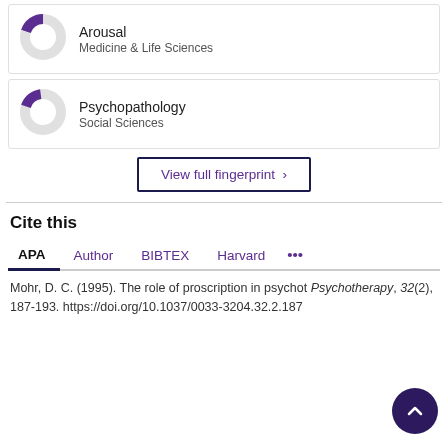[Figure (donut-chart): Donut chart for Arousal, Medicine & Life Sciences, approximately 20% filled purple]
Arousal
Medicine & Life Sciences
[Figure (donut-chart): Donut chart for Psychopathology, Social Sciences, approximately 18% filled purple]
Psychopathology
Social Sciences
View full fingerprint >
Cite this
APA | Author | BIBTEX | Harvard | ...
Mohr, D. C. (1995). The role of proscription in psychotherapy. Psychotherapy, 32(2), 187-193. https://doi.org/10.1037/0033-3204.32.2.187